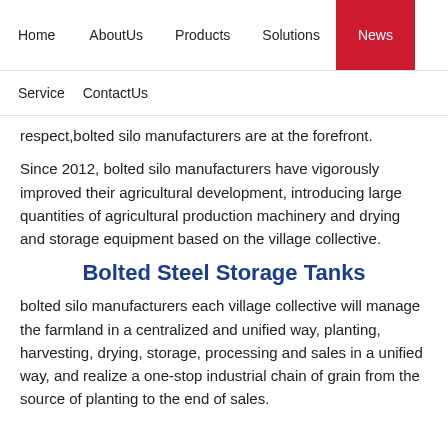Home   AboutUs   Products   Solutions   News   Service   ContactUs
respect,bolted silo manufacturers are at the forefront.
Since 2012, bolted silo manufacturers have vigorously improved their agricultural development, introducing large quantities of agricultural production machinery and drying and storage equipment based on the village collective.
Bolted Steel Storage Tanks
bolted silo manufacturers each village collective will manage the farmland in a centralized and unified way, planting, harvesting, drying, storage, processing and sales in a unified way, and realize a one-stop industrial chain of grain from the source of planting to the end of sales.